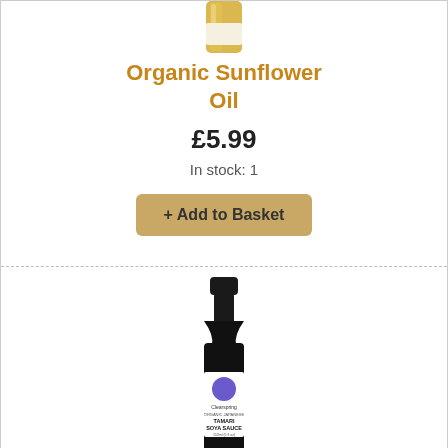[Figure (photo): Organic sunflower oil bottle, glass with yellow oil visible, partially cropped at top]
Organic Sunflower Oil
£5.99
In stock: 1
+ Add to Basket
[Figure (photo): Dark glass bottle of Clearspring Organic Japanese Tamari Soya Sauce with white label showing purple circle logo, black cap, partially cropped at bottom]